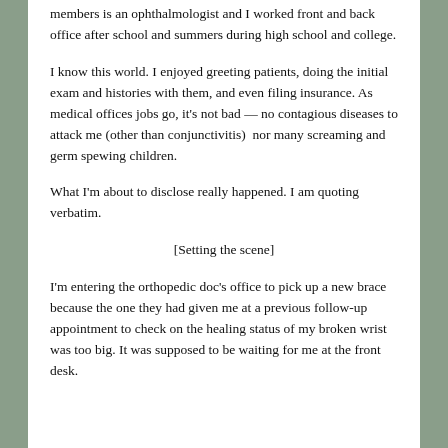members is an ophthalmologist and I worked front and back office after school and summers during high school and college.
I know this world. I enjoyed greeting patients, doing the initial exam and histories with them, and even filing insurance. As medical offices jobs go, it's not bad — no contagious diseases to attack me (other than conjunctivitis)  nor many screaming and germ spewing children.
What I'm about to disclose really happened. I am quoting verbatim.
[Setting the scene]
I'm entering the orthopedic doc's office to pick up a new brace because the one they had given me at a previous follow-up appointment to check on the healing status of my broken wrist was too big. It was supposed to be waiting for me at the front desk.